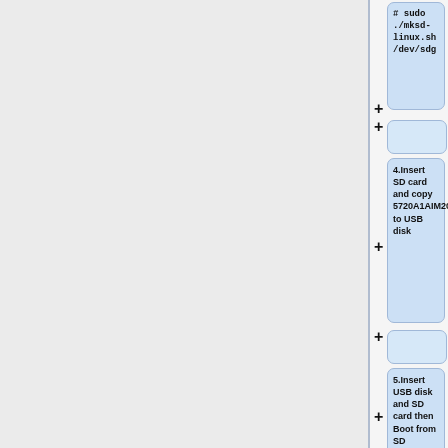[Figure (flowchart): Flowchart showing sequential steps for flashing an iMX8M device. Visible steps: (1) code box showing '# sudo ./mksd-linux.sh /dev/sdg', connector, (4) Insert SD card and copy 5720A1AIM20LIV90022_iMX8M_flash_tool to USB disk, connector, (5) Insert USB disk and SD card then Boot from SD, connector, (6) Enter usb disk folder, make a ...]